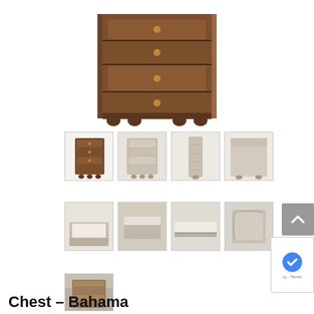[Figure (photo): Main product image of a wooden chest of drawers (Bahama style) with 4 drawers, dark brown finish, round bun feet, and round brass drawer pulls, viewed from a slight angle]
[Figure (photo): Thumbnail 1: Front view of dark brown chest of drawers]
[Figure (photo): Thumbnail 2: Front view of light gray/beige chest of drawers]
[Figure (photo): Thumbnail 3: Side profile view of chest]
[Figure (photo): Thumbnail 4: Back panel view of chest]
[Figure (photo): Thumbnail 5: Open drawer detail showing interior]
[Figure (photo): Thumbnail 6: Close-up of drawer front]
[Figure (photo): Thumbnail 7: Drawer rail/glide detail]
[Figure (photo): Thumbnail 8: Corner molding detail]
[Figure (photo): Thumbnail 9: Lifestyle room scene with chest]
Chest – Bahama